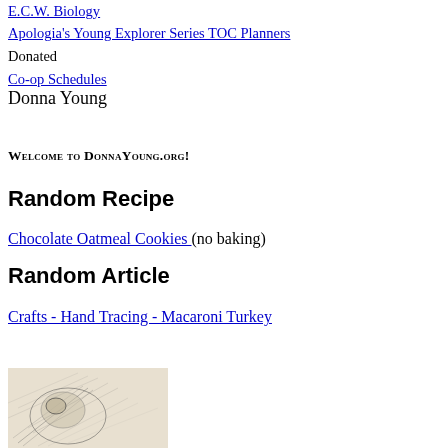E.C.W. Biology
Apologia's Young Explorer Series TOC Planners
Donated Co-op Schedules
Donna Young
Welcome to DonnaYoung.org!
Random Recipe
Chocolate Oatmeal Cookies (no baking)
Random Article
Crafts - Hand Tracing - Macaroni Turkey
[Figure (illustration): Pencil sketch illustration, partially visible at bottom of page, appears to show a hand-traced turkey craft or similar drawing in black and white pencil style.]